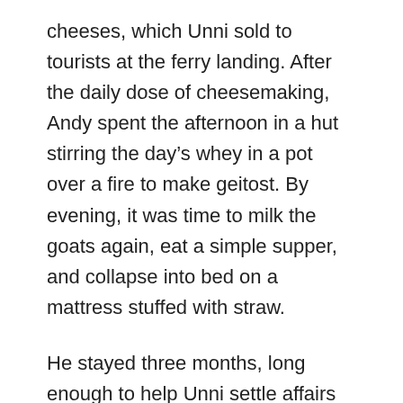cheeses, which Unni sold to tourists at the ferry landing. After the daily dose of cheesemaking, Andy spent the afternoon in a hut stirring the day's whey in a pot over a fire to make geitost. By evening, it was time to milk the goats again, eat a simple supper, and collapse into bed on a mattress stuffed with straw.
He stayed three months, long enough to help Unni settle affairs to sell the farm and make him a pair of socks from the hair of the farm dog, a Norwegian reindeer-herding pup named Knatchean. “It took me a month to learn how to